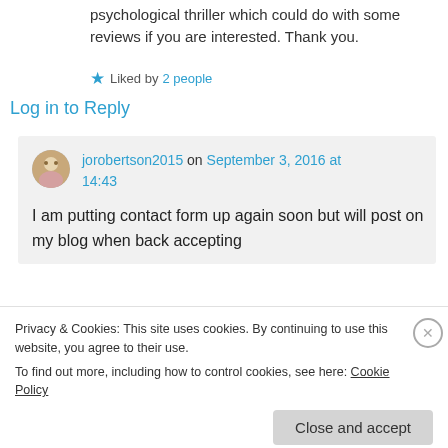psychological thriller which could do with some reviews if you are interested. Thank you.
Liked by 2 people
Log in to Reply
jorobertson2015 on September 3, 2016 at 14:43
I am putting contact form up again soon but will post on my blog when back accepting
Privacy & Cookies: This site uses cookies. By continuing to use this website, you agree to their use.
To find out more, including how to control cookies, see here: Cookie Policy
Close and accept